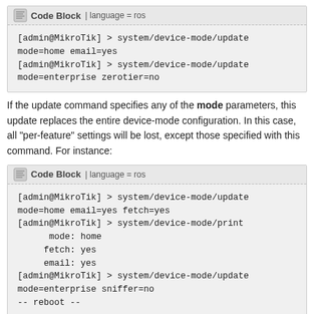[Figure (other): Code Block with language=ros showing system/device-mode/update commands with mode=home email=yes and mode=enterprise zerotier=no]
If the update command specifies any of the mode parameters, this update replaces the entire device-mode configuration. In this case, all "per-feature" settings will be lost, except those specified with this command. For instance:
[Figure (other): Code Block with language=ros showing system/device-mode/update mode=home email=yes fetch=yes, system/device-mode/print output, system/device-mode/update mode=enterprise sniffer=no, and -- reboot --]